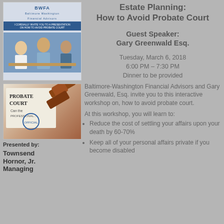[Figure (illustration): BWFA brochure cover showing a financial planning meeting with text 'I cordially invite you to a presentation on how to avoid probate court']
Estate Planning:
How to Avoid Probate Court
Guest Speaker:
Gary Greenwald Esq.
Tuesday, March 6, 2018
6:00 PM – 7:30 PM
Dinner to be provided
Baltimore-Washington Financial Advisors and Gary Greenwald, Esq. invite you to this interactive workshop on, how to avoid probate court.
At this workshop, you will learn to:
[Figure (photo): Photo of Probate Court sign with a gavel]
Reduce the cost of settling your affairs upon your death by 60-70%
Keep all of your personal affairs private if you become disabled
Presented by:
Townsend Hornor, Jr.
Managing